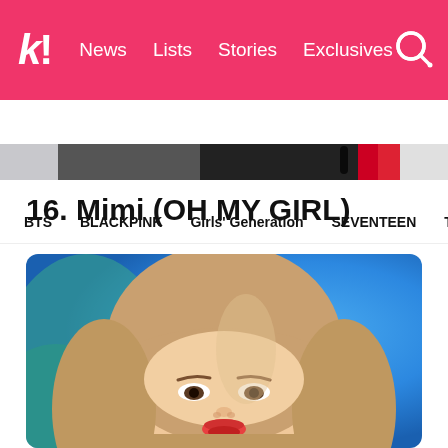k! News  Lists  Stories  Exclusives
BTS  BLACKPINK  Girls' Generation  SEVENTEEN  TWICE
[Figure (photo): Partial top image strip visible at top of content area]
16. Mimi (OH MY GIRL)
[Figure (photo): Close-up photo of Mimi from OH MY GIRL with blonde hair with bangs, wearing stage makeup with red lips, blue and green blurred background]